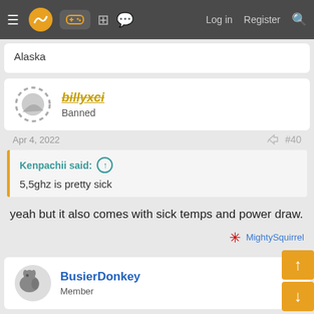Navigation bar with logo, gamepad icon, forum icons, Log in, Register, Search
Alaska
billyxci
Banned
Apr 4, 2022  #40
Kenpachii said: ↑
5,5ghz is pretty sick
yeah but it also comes with sick temps and power draw.
MightySquirrel
BusierDonkey
Member